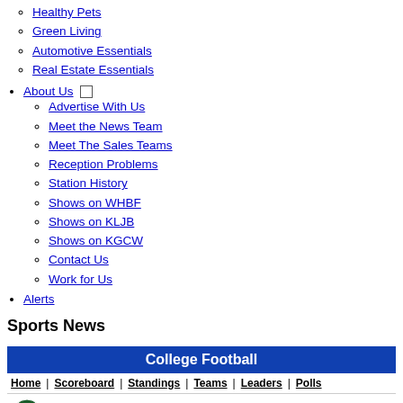Healthy Pets
Green Living
Automotive Essentials
Real Estate Essentials
About Us
Advertise With Us
Meet the News Team
Meet The Sales Teams
Reception Problems
Station History
Shows on WHBF
Shows on KLJB
Shows on KGCW
Contact Us
Work for Us
Alerts
Sports News
| Int | Yds | TDs |
| --- | --- | --- |